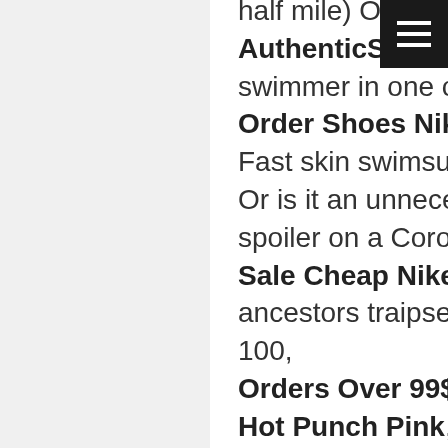half mile) Or will it become a necessity, 100 AuthenticShoes Nike Free Tiffany Blue, like a swimmer in one of those sleek, Order Shoes Nike Free Hot Punch, full body Fast skin swimsuits zipping through the water? Or is it an unnecessary accoutrement like a rear spoiler on a Corolla?After all, Sale Cheap Nike Free Tiffany Blue, our ancestors traipsed around the planet for a few 100, Orders Over 99$ For Freeshipping Nike Free Hot Punch Pink,000 years without so much as a Birkenstock. And the history of running is filled with stories of the barefoot champions. Ethiopia's Abebe Bikila is known as the greatest Olympic marathoner and he won a gold medal shoeless. South African Zola Budd set a blistering pace with naked tootsies back in the 1980s. And in the 1940s,